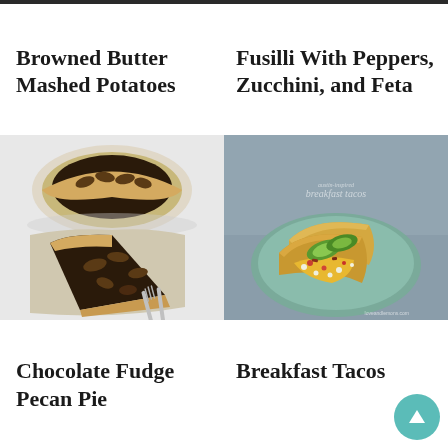[Figure (photo): Top strip image left - dark food photo partially visible at top]
[Figure (photo): Top strip image right - dark food photo partially visible at top]
Browned Butter Mashed Potatoes
Fusilli With Peppers, Zucchini, and Feta
[Figure (photo): Chocolate pecan pie slice on plate with forks on marble surface]
[Figure (photo): Breakfast tacos on a teal plate with eggs, avocado, bacon, and cheese on blue background]
Chocolate Fudge Pecan Pie
Breakfast Tacos